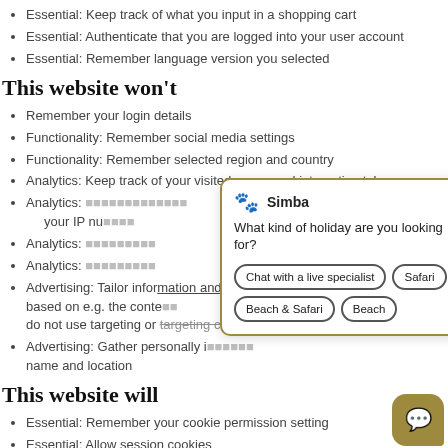Essential: Keep track of what you input in a shopping cart
Essential: Authenticate that you are logged into your user account
Essential: Remember language version you selected
This website won't
Remember your login details
Functionality: Remember social media settings
Functionality: Remember selected region and country
Analytics: Keep track of your visited pages and interaction taken
Analytics: [partially obscured] your IP nu[mber]
Analytics: [partially obscured]
Analytics: [partially obscured]
Advertising: Tailor information and advertising to your interests based on e.g. the conte[nt] [we do not use targeting or targeting cookies]
Advertising: Gather personally i[dentifiable information] [such as] name and location
[Figure (screenshot): Chat widget overlay from 'Simba' asking 'What kind of holiday are you looking for?' with buttons: 'Chat with a live specialist', 'Safari', 'Beach & Safari', 'Beach']
This website will
Essential: Remember your cookie permission setting
Essential: Allow session cookies